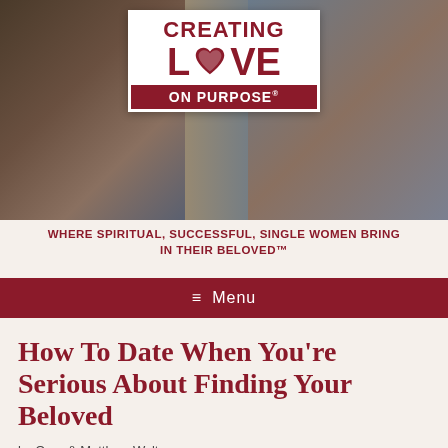[Figure (photo): Header photo of a couple embracing outdoors at what appears to be a carnival or carousel setting, with the 'Creating Love On Purpose' logo overlaid in the center]
WHERE SPIRITUAL, SUCCESSFUL, SINGLE WOMEN BRING IN THEIR BELOVED™
☰  Menu
How To Date When You're Serious About Finding Your Beloved
by Orna & Matthew Walters